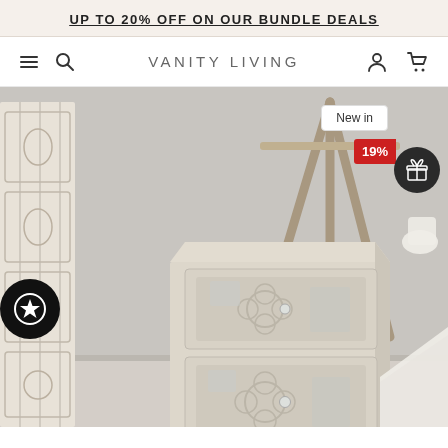UP TO 20% OFF ON OUR BUNDLE DEALS
VANITY LIVING
[Figure (photo): A whitewashed carved wooden two-drawer bedside table with mirrored quatrefoil panel inserts and crystal knobs, styled next to a tripod lamp and a carved wardrobe, on a light grey background.]